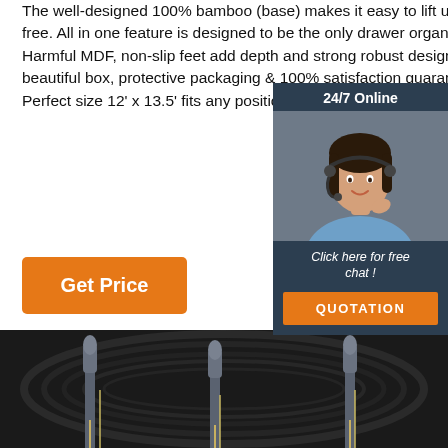The well-designed 100% bamboo (base) makes it easy to lift up for free. All in one feature is designed to be the only drawer organizer. Harmful MDF, non-slip feet add depth and strong robust design, beautiful box, protective packaging & 100% satisfaction guarantee. Perfect size 12' x 13.5' fits any position feature is not Home
[Figure (photo): Chat widget with woman wearing headset, 24/7 Online header, Click here for free chat text, and orange QUOTATION button]
Get Price
[Figure (photo): Dark background product image showing multiple screwdriver-like tools with orange TOP badge in upper right]